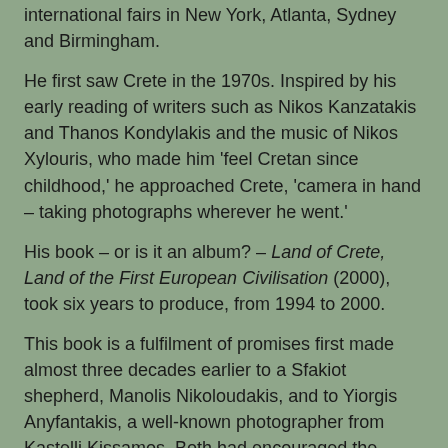international fairs in New York, Atlanta, Sydney and Birmingham.
He first saw Crete in the 1970s. Inspired by his early reading of writers such as Nikos Kanzatakis and Thanos Kondylakis and the music of Nikos Xylouris, who made him 'feel Cretan since childhood,' he approached Crete, 'camera in hand – taking photographs wherever he went.'
His book – or is it an album? – Land of Crete, Land of the First European Civilisation (2000), took six years to produce, from 1994 to 2000.
This book is a fulfilment of promises first made almost three decades earlier to a Sfakiot shepherd, Manolis Nikoloudakis, and to Yiorgis Anyfantakis, a well-known photographer from Kastelli Kissamos. Both had encouraged the young Georges Meis when he was journeying throughout Crete after he had returned to Greece from Paris. Some of Meis's black and white photographs taken at that time were included in the book – atmospheric images of elderly villagers and their day-by-day life: baking bread, tending animals, gossiping on the village bench.